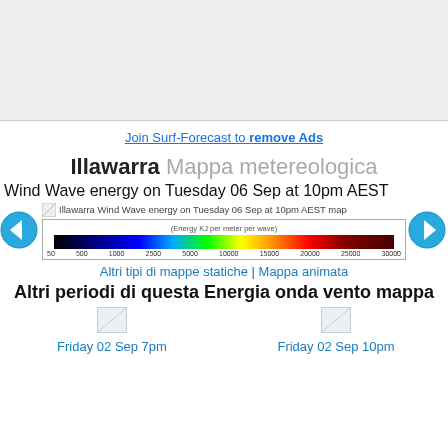[Figure (other): Advertisement banner area (grey placeholder)]
Join Surf-Forecast to remove Ads
Illawarra Mappa metereologica
Wind Wave energy on Tuesday 06 Sep at 10pm AEST
[Figure (map): Illawarra Wind Wave energy on Tuesday 06 Sep at 10pm AEST map with color scale bar from 50 to 30000 Energy KJ per meter per wave]
Altri tipi di mappe statiche | Mappa animata
Altri periodi di questa Energia onda vento mappa
[Figure (map): Thumbnail map for Friday 02 Sep 7pm]
Friday 02 Sep 7pm
[Figure (map): Thumbnail map for Friday 02 Sep 10pm]
Friday 02 Sep 10pm